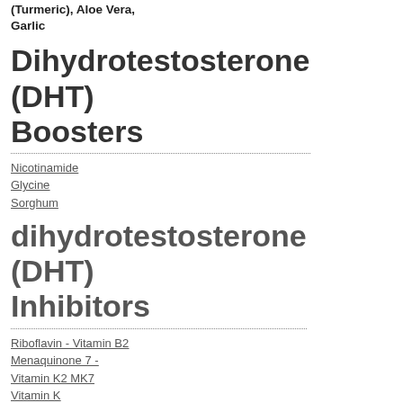(Turmeric), Aloe Vera, Garlic
Dihydrotestosterone (DHT) Boosters
Nicotinamide
Glycine
Sorghum
dihydrotestosterone (DHT) Inhibitors
Riboflavin - Vitamin B2
Menaquinone 7 - Vitamin K2 MK7
Vitamin K
Berberine
Black Pepper
Prolactin